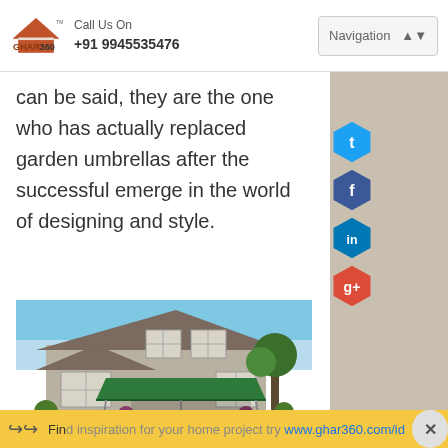GHAR360 | Call Us On +91 9945535476 | Navigation
can be said, they are the one who has actually replaced garden umbrellas after the successful emerge in the world of designing and style.
[Figure (photo): House with a large green awning/canopy over the front patio area, two-story suburban home with landscaping]
Find inspiration for your home project try www.ghar360.com/id